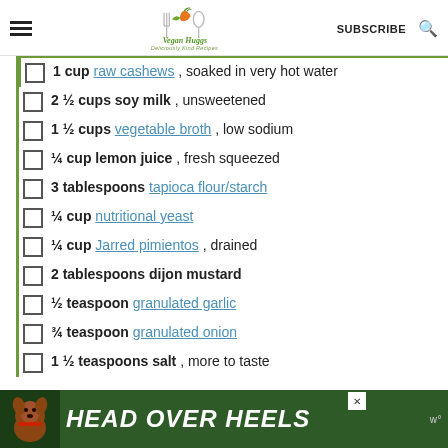Vegan Huggs — Deliciously Kind Recipes | SUBSCRIBE
1 cup raw cashews , soaked in very hot water
2 ½ cups soy milk , unsweetened
1 ½ cups vegetable broth , low sodium
¼ cup lemon juice , fresh squeezed
3 tablespoons tapioca flour/starch
¼ cup nutritional yeast
¼ cup Jarred pimientos , drained
2 tablespoons dijon mustard
½ teaspoon granulated garlic
¾ teaspoon granulated onion
1 ½ teaspoons salt , more to taste
[Figure (infographic): Advertisement banner with dog photo and text HEAD OVER HEELS on dark green background]